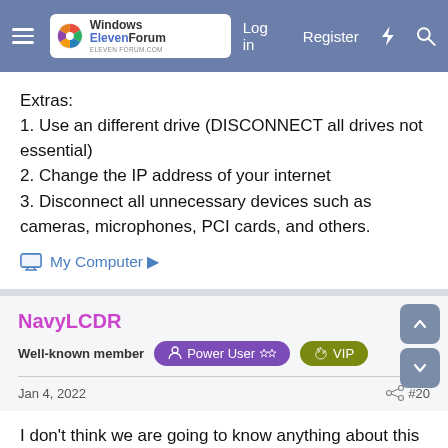Windows ElevenForum | Log in | Register
Extras:
1. Use an different drive (DISCONNECT all drives not essential)
2. Change the IP address of your internet
3. Disconnect all unnecessary devices such as cameras, microphones, PCI cards, and others.
My Computer ▶
NavyLCDR
Well-known member   Power User ☆☆   VIP
Jan 4, 2022   #20
I don't think we are going to know anything about this